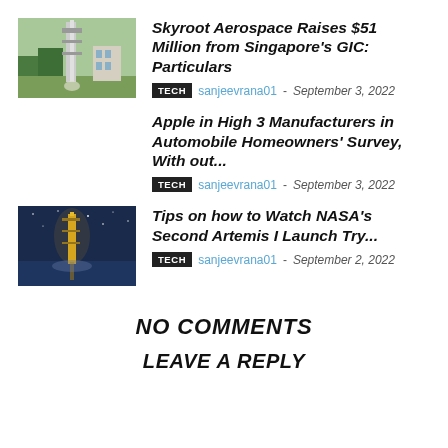[Figure (photo): Rocket on launch pad with buildings in background, daytime]
Skyroot Aerospace Raises $51 Million from Singapore's GIC: Particulars
TECH sanjeevrana01 - September 3, 2022
Apple in High 3 Manufacturers in Automobile Homeowners' Survey, With out...
TECH sanjeevrana01 - September 3, 2022
[Figure (photo): Rocket on launch pad at night with dramatic blue sky lighting]
Tips on how to Watch NASA's Second Artemis I Launch Try...
TECH sanjeevrana01 - September 2, 2022
NO COMMENTS
LEAVE A REPLY